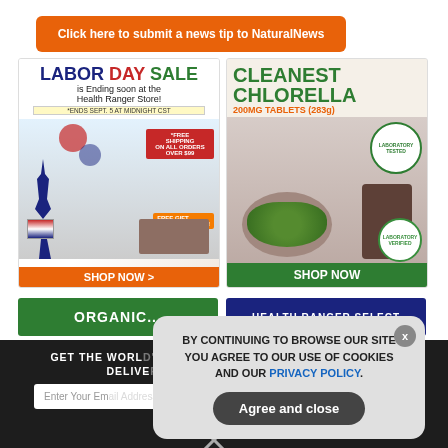[Figure (other): Orange button: Click here to submit a news tip to NaturalNews]
[Figure (other): Labor Day Sale advertisement for Health Ranger Store with Statue of Liberty graphic, free shipping offer, Shop Now button]
[Figure (other): Cleanest Chlorella 200MG Tablets (283g) advertisement with green tablets in bowl, laboratory tested badge, Shop Now button]
[Figure (other): Partial bottom ads row: green ad on left, Health Ranger Select blue ad on right]
GET THE WORLD'S BEST NATURAL HEALTH NEWSLETTER DELIVERED STRAIGHT TO YOUR INBOX
Enter Your Email Address
SUBSCRIBE
BY CONTINUING TO BROWSE OUR SITE YOU AGREE TO OUR USE OF COOKIES AND OUR PRIVACY POLICY.
Agree and close